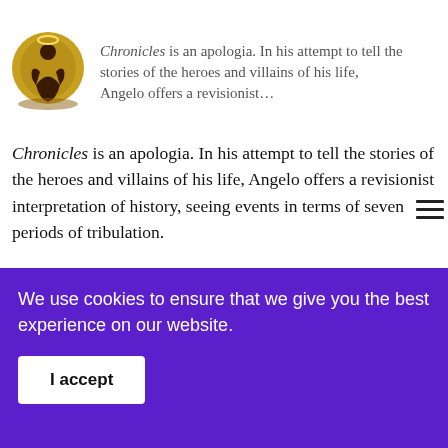Chronicles is an apologia. In his attempt to tell the stories of the heroes and villains of his life, Angelo offers a revisionist interpretation of history, seeing events in terms of seven periods of tribulation.
In this light, Angelo's portrait of Francis takes on significance. The opening sentence of The Book of Chronicles expresses the characteristics of Francis dearest to Angelo: "the poor and humble man of God." While this image of the saint appears frequently throughout the Prologue and first tribulation, Angelo frequently qualifies it by noting
We use cookies to ensure that we give you the best experience on our website.